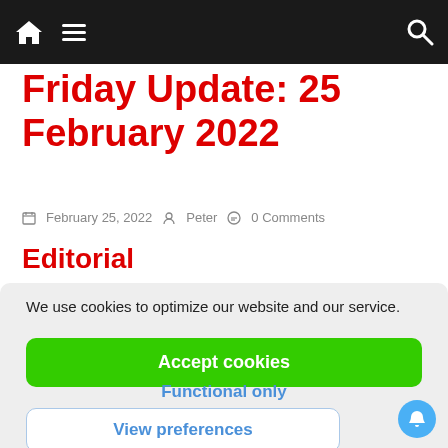Navigation bar with home icon, hamburger menu, and search icon
Friday Update: 25 February 2022
February 25, 2022  Peter  0 Comments
Editorial
We use cookies to optimize our website and our service.
Accept cookies
Functional only
View preferences